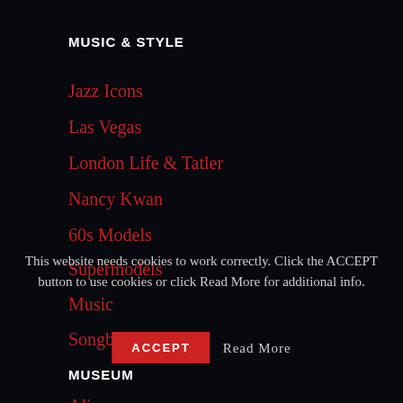MUSIC & STYLE
Jazz Icons
Las Vegas
London Life & Tatler
Nancy Kwan
60s Models
Supermodels
Music
Songbirds
MUSEUM
Alice
This website needs cookies to work correctly. Click the ACCEPT button to use cookies or click Read More for additional info.
ACCEPT
Read More